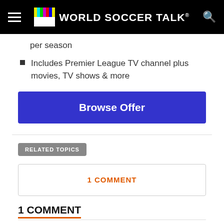World Soccer Talk
per season
Includes Premier League TV channel plus movies, TV shows & more
Browse Offer
RELATED TOPICS
1 COMMENT
1 COMMENT
Gregg
January 7, 2007 at 10/3am